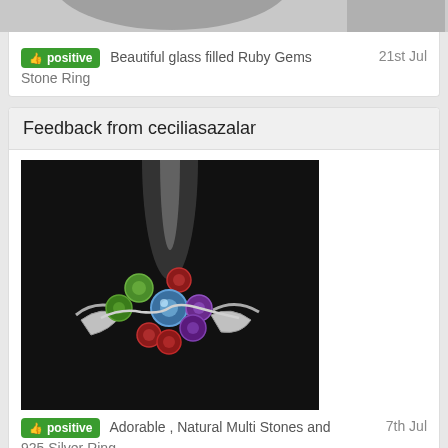[Figure (photo): Partial view of a ring photo at the top of page, cropped]
positive   Beautiful glass filled Ruby Gems   21st Jul
Stone Ring
Feedback from ceciliasazalar
[Figure (photo): Photo of a colorful multi-stone silver ring on a dark background, with green, blue, red, and purple gemstones arranged in a flower pattern]
positive   Adorable , Natural Multi Stones and   7th Jul
925 Silver Ring
Valued buyer thanks for prompt payment , Always pleasure doing business with you.